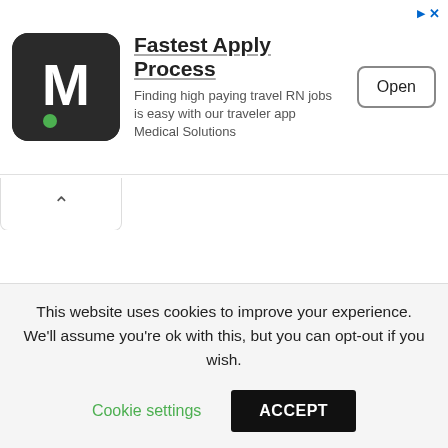[Figure (infographic): Advertisement banner for Medical Solutions app. Features the Medical Solutions 'M' logo on dark background, headline 'Fastest Apply Process', subtitle 'Finding high paying travel RN jobs is easy with our traveler app Medical Solutions', and an 'Open' button. AdChoices icon in top right.]
[Figure (other): Accordion/tab UI element with an upward-pointing chevron (^) indicating a collapsible section.]
This website uses cookies to improve your experience. We'll assume you're ok with this, but you can opt-out if you wish.
Cookie settings   ACCEPT